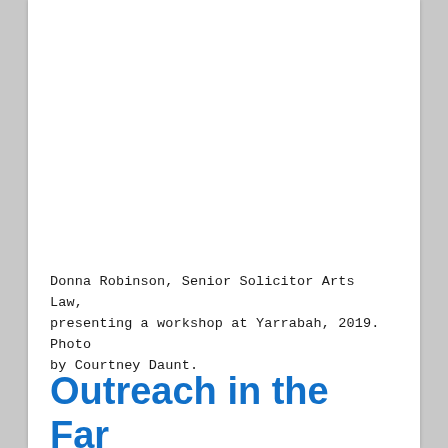[Figure (photo): Photo area of Donna Robinson presenting a workshop at Yarrabah, 2019 (image content not visible in this portion of the page)]
Donna Robinson, Senior Solicitor Arts Law, presenting a workshop at Yarrabah, 2019. Photo by Courtney Daunt.
Outreach in the Far North